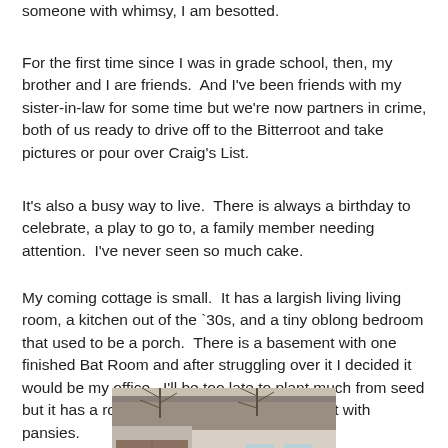someone with whimsy, I am besotted.
For the first time since I was in grade school, then, my brother and I are friends.  And I've been friends with my sister-in-law for some time but we're now partners in crime, both of us ready to drive off to the Bitterroot and take pictures or pour over Craig's List.
It's also a busy way to live.  There is always a birthday to celebrate, a play to go to, a family member needing attention.  I've never seen so much cake.
My coming cottage is small.  It has a largish living living room, a kitchen out of the `30s, and a tiny oblong bedroom that used to be a porch.  There is a basement with one finished Bat Room and after struggling over it I decided it would be my office.  I'll be too late to plant much from seed but it has a rock planter and I'll strip it and fill it with pansies.
[Figure (photo): Exterior photo of a small cottage/house showing the roof, siding, garage door, and bare trees in the background]